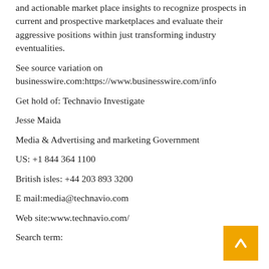and actionable market place insights to recognize prospects in current and prospective marketplaces and evaluate their aggressive positions within just transforming industry eventualities.
See source variation on businesswire.com:https://www.businesswire.com/info
Get hold of: Technavio Investigate
Jesse Maida
Media & Advertising and marketing Government
US: +1 844 364 1100
British isles: +44 203 893 3200
E mail:media@technavio.com
Web site:www.technavio.com/
Search term: